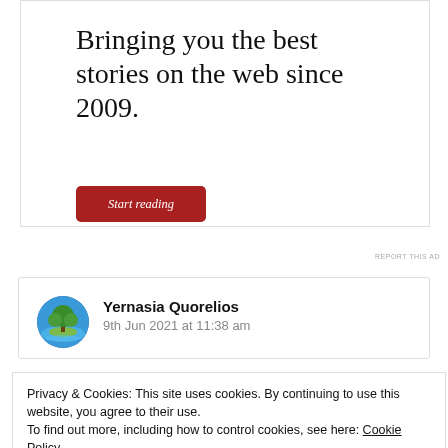[Figure (illustration): Advertisement box with text and button]
Bringing you the best stories on the web since 2009.
Start reading
REPORT THIS AD
[Figure (photo): Circular avatar image of a tree on an island]
Yernasia Quorelios
9th Jun 2021 at 11:38 am
Privacy & Cookies: This site uses cookies. By continuing to use this website, you agree to their use.
To find out more, including how to control cookies, see here: Cookie Policy
Close and accept